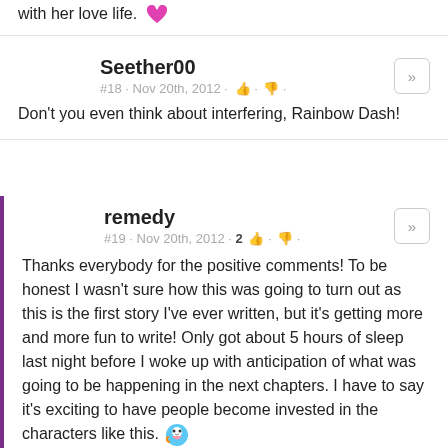with her love life. 💗
Seether00
#18 · Nov 20th, 2012 · 👍 · 👎
Don't you even think about interfering, Rainbow Dash!
remedy
#19 · Nov 20th, 2012 · 2 👍 · 👎
Thanks everybody for the positive comments! To be honest I wasn't sure how this was going to turn out as this is the first story I've ever written, but it's getting more and more fun to write! Only got about 5 hours of sleep last night before I woke up with anticipation of what was going to be happening in the next chapters. I have to say it's exciting to have people become invested in the characters like this. 🌈
Hard to believe I started this intending for it to be